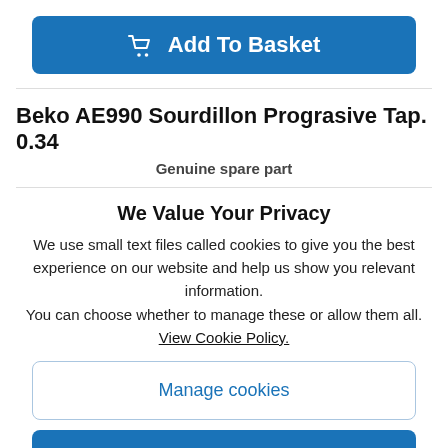[Figure (other): Blue 'Add To Basket' button with shopping cart icon]
Beko AE990 Sourdillon Prograsive Tap. 0.34
Genuine spare part
We Value Your Privacy
We use small text files called cookies to give you the best experience on our website and help us show you relevant information.
You can choose whether to manage these or allow them all.
View Cookie Policy.
[Figure (other): Manage cookies button (outlined, blue text)]
[Figure (other): Allow All button (solid blue with arrow icon)]